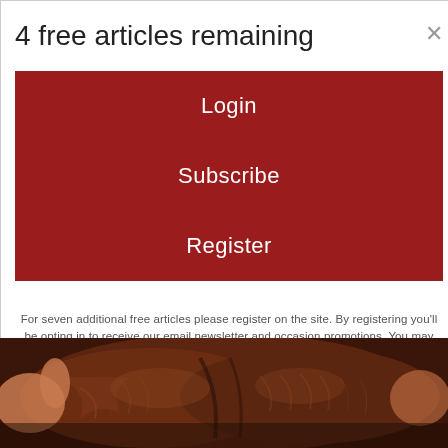4 free articles remaining
Login
Subscribe
Register
For seven additional free articles please register on the site. By registering you'll be opting in to receive our email newsletter and occasion promotions. You may opt out at any time.
[Figure (photo): Close-up photo of what appears to be wrinkled dark leather shoes or similar dark textured material held by hands]